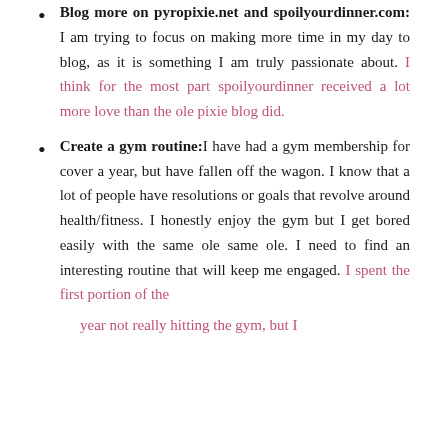Blog more on pyropixie.net and spoilyourdinner.com: I am trying to focus on making more time in my day to blog, as it is something I am truly passionate about. I think for the most part spoilyourdinner received a lot more love than the ole pixie blog did.
Create a gym routine: I have had a gym membership for cover a year, but have fallen off the wagon. I know that a lot of people have resolutions or goals that revolve around health/fitness. I honestly enjoy the gym but I get bored easily with the same ole same ole. I need to find an interesting routine that will keep me engaged. I spent the first portion of the year not really hitting the gym, but I